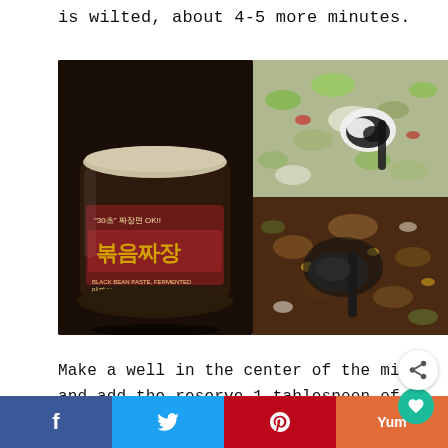is wilted, about 4-5 more minutes.
[Figure (photo): Collage of three food photos: left — a jar of Korean black bean paste (볶음짜장, fermented black bean paste, 30초 짜장면 OK!!); top right — a spoon with black bean paste being added to chopped vegetables; bottom right — black bean paste being stirred into a mixture of chopped vegetables and ingredients.]
Make a well in the center of the mix and add the reserve 1 tablespoon of bacon oil, black bean paste, and sugar. Mix to combine, then mix to
f  t  p  Yum